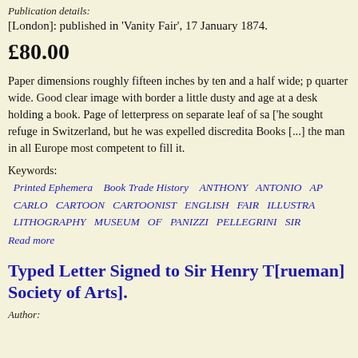Publication details:
[London]: published in 'Vanity Fair', 17 January 1874.
£80.00
Paper dimensions roughly fifteen inches by ten and a half wide; p quarter wide. Good clear image with border a little dusty and age at a desk holding a book. Page of letterpress on separate leaf of sa ['he sought refuge in Switzerland, but he was expelled discredita Books [...] the man in all Europe most competent to fill it.
Keywords:
Printed Ephemera   Book Trade History   ANTHONY   ANTONIO   AP CARLO   CARTOON   CARTOONIST   ENGLISH   FAIR   ILLUSTRA LITHOGRAPHY   MUSEUM   OF   PANIZZI   PELLEGRINI   SIR
Read more
Typed Letter Signed to Sir Henry T[rueman] Society of Arts].
Author: